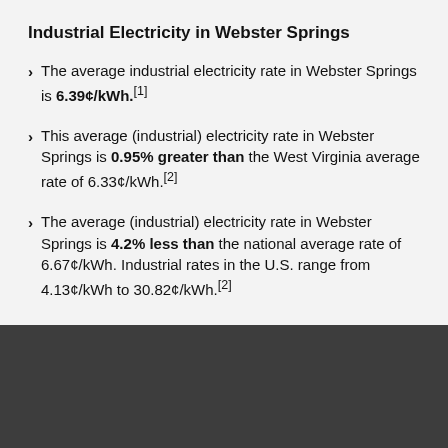Industrial Electricity in Webster Springs
The average industrial electricity rate in Webster Springs is 6.39¢/kWh.[1]
This average (industrial) electricity rate in Webster Springs is 0.95% greater than the West Virginia average rate of 6.33¢/kWh.[2]
The average (industrial) electricity rate in Webster Springs is 4.2% less than the national average rate of 6.67¢/kWh. Industrial rates in the U.S. range from 4.13¢/kWh to 30.82¢/kWh.[2]